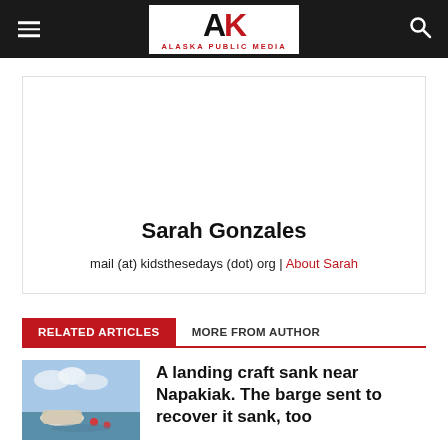Alaska Public Media
[Figure (logo): Alaska Public Media logo with AK letters and red text subtitle]
Sarah Gonzales
mail (at) kidsthesedays (dot) org | About Sarah
RELATED ARTICLES   MORE FROM AUTHOR
A landing craft sank near Napakiak. The barge sent to recover it sank, too